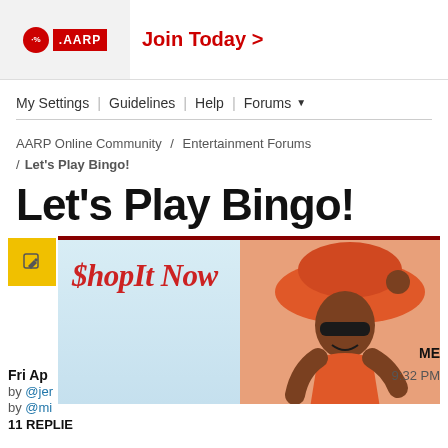[Figure (other): AARP advertisement banner with percentage badge, AARP logo, and 'Join Today >' text in red]
My Settings | Guidelines | Help | Forums
AARP Online Community / Entertainment Forums / Let's Play Bingo!
Let's Play Bingo!
[Figure (photo): ShopIt Now advertisement banner with woman in orange hat and sunglasses at beach]
Fri Ap... ME
by @jer... 9:32 PM
by @mi...
11 REPLIE